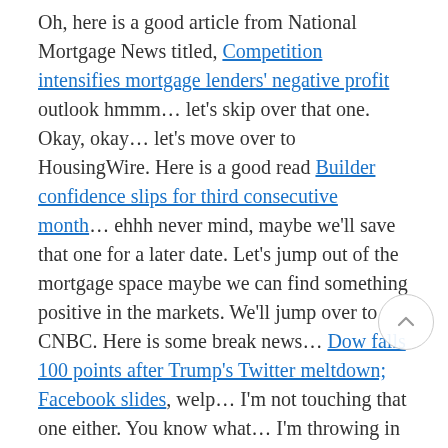Oh, here is a good article from National Mortgage News titled, Competition intensifies mortgage lenders' negative profit outlook hmmm… let's skip over that one. Okay, okay… let's move over to HousingWire. Here is a good read Builder confidence slips for third consecutive month… ehhh never mind, maybe we'll save that one for a later date. Let's jump out of the mortgage space maybe we can find something positive in the markets. We'll jump over to CNBC. Here is some break news… Dow falls 100 points after Trump's Twitter meltdown; Facebook slides, welp… I'm not touching that one either. You know what… I'm throwing in the towel on the news outlets. It's hard right now to find a story that isn't looking at